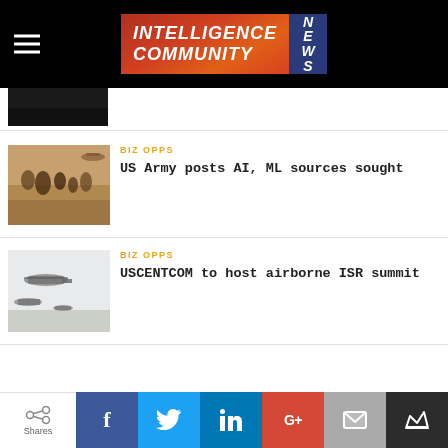[Figure (logo): Intelligence Community News logo with hamburger menu on black header bar]
[Figure (photo): US Army soldiers in desert landscape, partial/cropped at top]
BIZ OPPS
US Army posts AI, ML sources sought
[Figure (photo): Military helicopters flying in formation against pale sky]
BIZ OPPS
USCENTCOM to host airborne ISR summit
[Figure (screenshot): Social sharing bar with Facebook, Twitter, LinkedIn, Google+, Email, and Crown icons, plus Shares button on left]